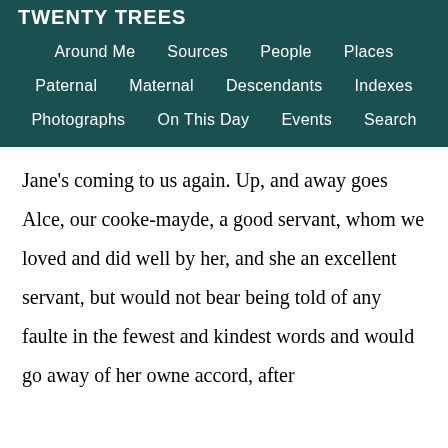Twenty Trees
Around Me  Sources  People  Places  Paternal  Maternal  Descendants  Indexes  Photographs  On This Day  Events  Search
Jane's coming to us again. Up, and away goes Alce, our cooke-mayde, a good servant, whom we loved and did well by her, and she an excellent servant, but would not bear being told of any faulte in the fewest and kindest words and would go away of her owne accord, after